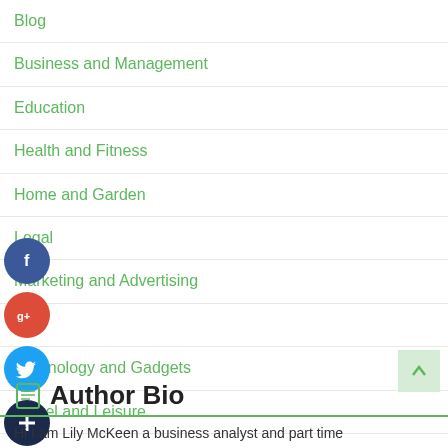Blog
Business and Management
Education
Health and Fitness
Home and Garden
Legal
Marketing and Advertising
Pets
Technology and Gadgets
Travel and Leisure
[Figure (infographic): Social media share icons: Facebook (blue circle with f), Google+ (red circle with g+), Twitter (blue circle with bird), Add/subscribe (dark blue circle with plus sign)]
Author Bio
Hi I am Lily McKeen a business analyst and part time